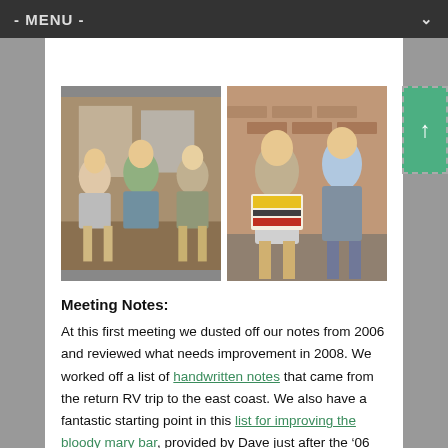- MENU -
[Figure (photo): Two photos side by side: left photo shows three people sitting and talking indoors; right photo shows two people outdoors one holding a sign.]
Meeting Notes:
At this first meeting we dusted off our notes from 2006 and reviewed what needs improvement in 2008. We worked off a list of handwritten notes that came from the return RV trip to the east coast. We also have a fantastic starting point in this list for improving the bloody mary bar, provided by Dave just after the ‘06 burn.
We talked about who would be driving and who would be flying, and how many people we should bank on making it to ‘08. For planning purposes only, we estimate that we will have 15 campers. We’ll have more of a definite idea when people